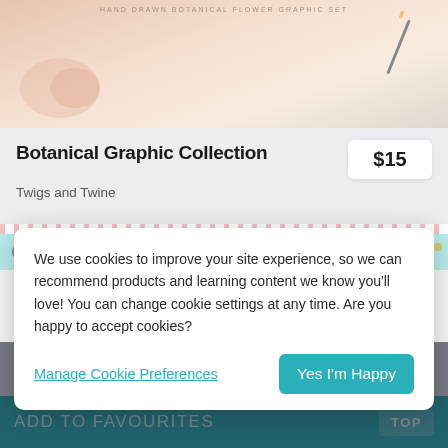[Figure (photo): Top portion of a product image showing a botanical flower graphic set with a peach/pink soft background and a pencil]
Botanical Graphic Collection
$15
Twigs and Twine
[Figure (photo): Muddy Paws Volume 2 product banner with watercolor floral strip border and a peach badge circle]
We use cookies to improve your site experience, so we can recommend products and learning content we know you'll love! You can change cookie settings at any time. Are you happy to accept cookies?
Manage Cookie Preferences
Yes I'm Happy